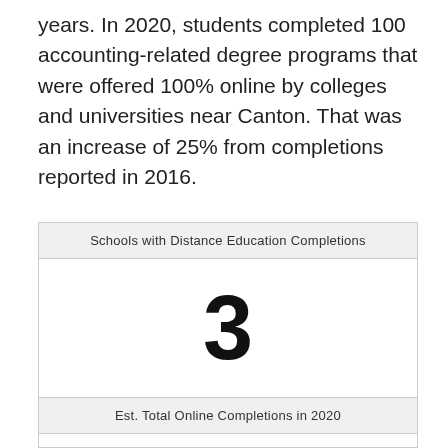years. In 2020, students completed 100 accounting-related degree programs that were offered 100% online by colleges and universities near Canton. That was an increase of 25% from completions reported in 2016.
Schools with Distance Education Completions
3
Est. Total Online Completions in 2020